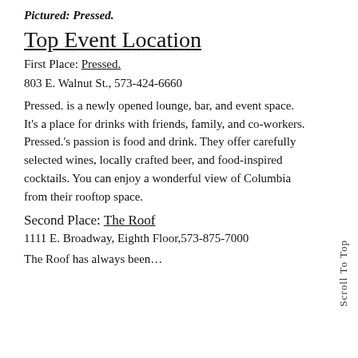Pictured: Pressed.
Top Event Location
First Place: Pressed.
803 E. Walnut St., 573-424-6660
Pressed. is a newly opened lounge, bar, and event space. It’s a place for drinks with friends, family, and co-workers. Pressed.’s passion is food and drink. They offer carefully selected wines, locally crafted beer, and food-inspired cocktails. You can enjoy a wonderful view of Columbia from their rooftop space.
Second Place: The Roof
1111 E. Broadway, Eighth Floor,573-875-7000
The Roof has always been...